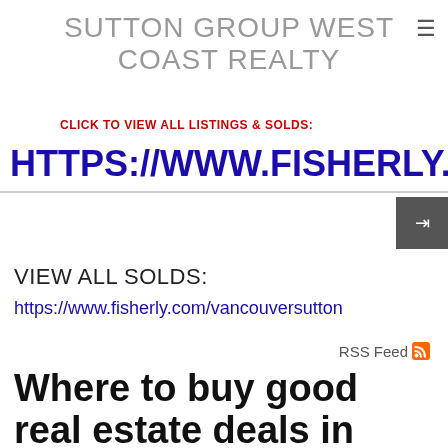SUTTON GROUP WEST COAST REALTY
CLICK TO VIEW ALL LISTINGS & SOLDS:
HTTPS://WWW.FISHERLY.COM/
VIEW ALL SOLDS:
https://www.fisherly.com/vancouversutton
RSS Feed
Where to buy good real estate deals in